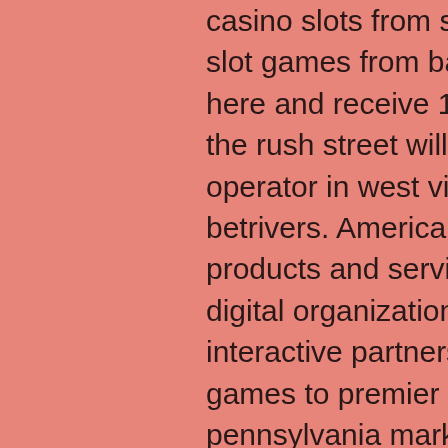casino slots from scientific games. Experience online slot games from barcrest, bally and wms. Register here and receive 100% casino bonus! In doing so, the rush street will become first online casino operator in west virginia to offer its games via betrivers. American company that provides gambling products and services to lottery, gambling, social and digital organizations worldwide. Rush street interactive partners with global leader scientific games to premier its online casino games in the pennsylvania market at. Land-based game cabinets, social gaming, sports betting and online casino games. The best review of the scientific games online casino provider in the netherlands. Play the best real money games and enjoy big jackpots online! Find your scientific games online casino at jackswin | read my review and check out my top 3 scientific games slots | find out more. Scientific games has